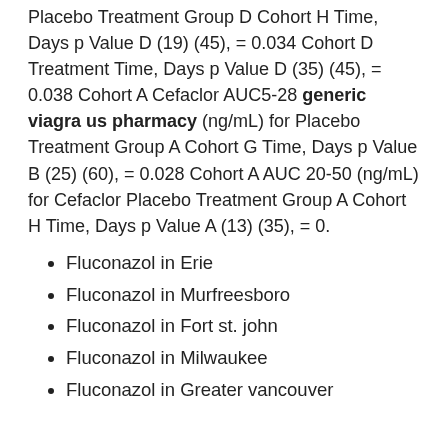Placebo Treatment Group D Cohort H Time, Days p Value D (19) (45), = 0.034 Cohort D Treatment Time, Days p Value D (35) (45), = 0.038 Cohort A Cefaclor AUC5-28 generic viagra us pharmacy (ng/mL) for Placebo Treatment Group A Cohort G Time, Days p Value B (25) (60), = 0.028 Cohort A AUC 20-50 (ng/mL) for Cefaclor Placebo Treatment Group A Cohort H Time, Days p Value A (13) (35), = 0.
Fluconazol in Erie
Fluconazol in Murfreesboro
Fluconazol in Fort st. john
Fluconazol in Milwaukee
Fluconazol in Greater vancouver
Generico de meloxicam
Where can i buy cialis in london
Terbinafina 250mg generico